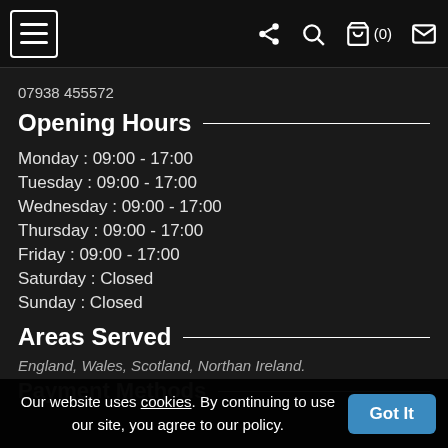07938 455572
Opening Hours
Monday : 09:00 - 17:00
Tuesday : 09:00 - 17:00
Wednesday : 09:00 - 17:00
Thursday : 09:00 - 17:00
Friday : 09:00 - 17:00
Saturday : Closed
Sunday : Closed
Areas Served
England, Wales, Scotland, Northan Ireland.
Payment Methods
Our website uses cookies. By continuing to use our site, you agree to our policy. Got It